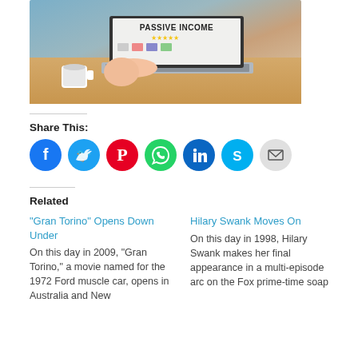[Figure (photo): Person typing on a laptop with a screen showing 'PASSIVE INCOME' text and icons, holding a cup of coffee, wooden desk background]
Share This:
[Figure (infographic): Social share icons row: Facebook (blue), Twitter (light blue), Pinterest (red), WhatsApp (green), LinkedIn (dark blue), Skype (cyan), Email (gray)]
Related
"Gran Torino" Opens Down Under
On this day in 2009, "Gran Torino," a movie named for the 1972 Ford muscle car, opens in Australia and New
Hilary Swank Moves On
On this day in 1998, Hilary Swank makes her final appearance in a multi-episode arc on the Fox prime-time soap